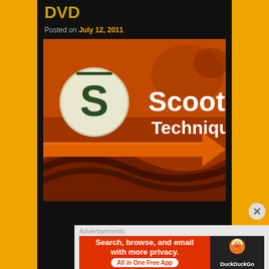DVD
Posted on July 12, 2011
[Figure (illustration): Scooter Techniques DVD cover art — orange-toned image featuring a stylized 'S' logo in a circle, bold white text reading 'Scooter Techniques', and a large orange arrow pointing right, with scooter tire/wheel details in the background.]
Advertisements
[Figure (screenshot): DuckDuckGo advertisement banner: left side orange background with white bold text 'Search, browse, and email with more privacy. All in One Free App'; right side dark background with DuckDuckGo duck logo and brand name.]